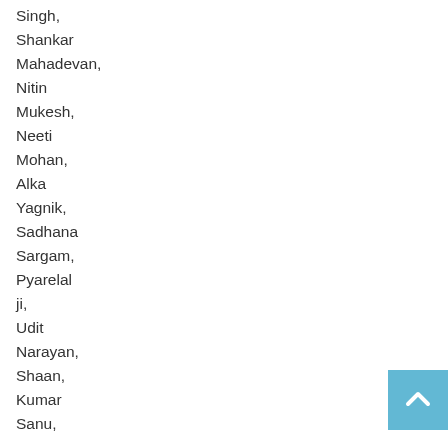Singh,
Shankar
Mahadevan,
Nitin
Mukesh,
Neeti
Mohan,
Alka
Yagnik,
Sadhana
Sargam,
Pyarelal
ji,
Udit
Narayan,
Shaan,
Kumar
Sanu,